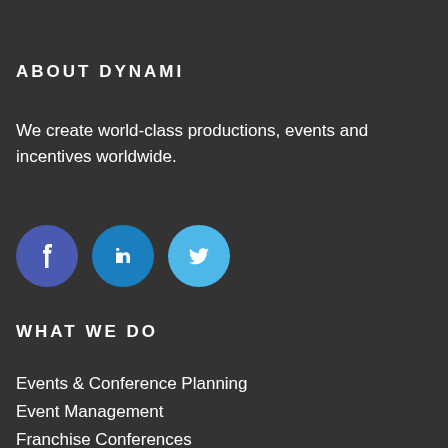ABOUT DYNAMI
We create world-class productions, events and incentives worldwide.
[Figure (infographic): Three social media icon circles: Facebook (dark blue-purple), LinkedIn (medium blue), Twitter (light blue)]
WHAT WE DO
Events & Conference Planning
Event Management
Franchise Conferences